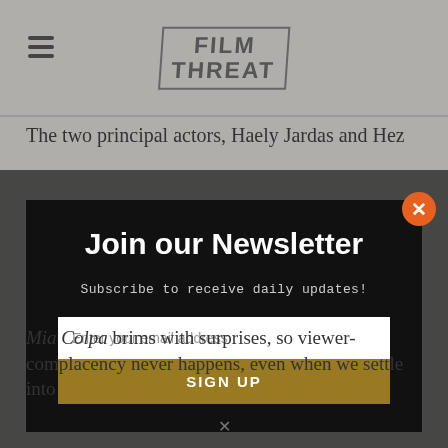Film Threat
The two principal actors, Haely Jardas and Hez
[Figure (screenshot): Newsletter signup modal popup with black background containing title 'Join our Newsletter', subtitle 'Subscribe to receive daily updates!', email input field, and gold SIGN UP button. Orange close button in top-right corner.]
Mia Colpa brims with surprises, so viewer-complacency never happens, even when we settle into